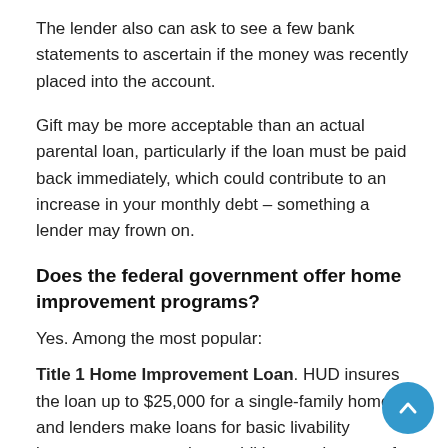The lender also can ask to see a few bank statements to ascertain if the money was recently placed into the account.
Gift may be more acceptable than an actual parental loan, particularly if the loan must be paid back immediately, which could contribute to an increase in your monthly debt – something a lender may frown on.
Does the federal government offer home improvement programs?
Yes. Among the most popular:
Title 1 Home Improvement Loan. HUD insures the loan up to $25,000 for a single-family home and lenders make loans for basic livability improvements – such as additions and new roofs – to eligible borrowers.
Section 203(k) Program. HUD helps finance the major